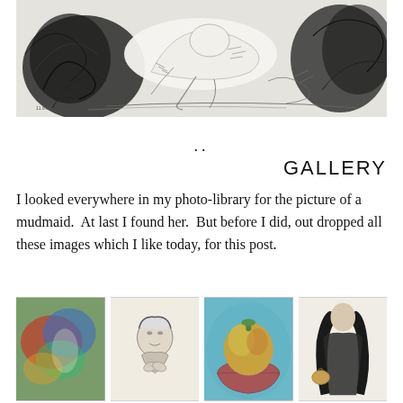[Figure (illustration): A detailed ink sketch/drawing showing abstract human and animal figures with swirling, expressive linework. Dark chaotic lines with white figure forms in the center.]
..
GALLERY
I looked everywhere in my photo-library for the picture of a mudmaid.  At last I found her.  But before I did, out dropped all these images which I like today, for this post.
[Figure (photo): Colorful abstract painting with green, red, blue hues and a faint figure]
[Figure (illustration): Pencil sketch of an elderly person lying down, looking up, with detailed shading]
[Figure (illustration): Watercolor painting of a round orange/yellow fruit or gourd in a red bowl with teal background]
[Figure (illustration): Ink sketch of a woman with long dark hair in a cloak or coat, carrying items]